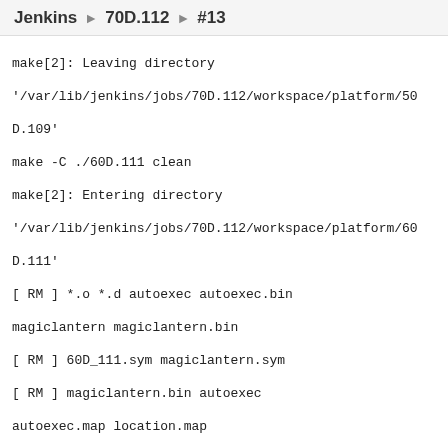Jenkins ▶ 70D.112 ▶ #13
make[2]: Leaving directory
'/var/lib/jenkins/jobs/70D.112/workspace/platform/50D.109'
make -C ./60D.111 clean
make[2]: Entering directory
'/var/lib/jenkins/jobs/70D.112/workspace/platform/60D.111'
[ RM        ]    *.o *.d autoexec autoexec.bin magiclantern magiclantern.bin
[ RM        ]    60D_111.sym magiclantern.sym
[ RM        ]    magiclantern.bin autoexec autoexec.map location.map
[ RM        ]    autoexec-fir autoexec-fir.bin
[ RM        ]    magiclantern.lds
[ RM        ]    dietlibc.a newlib-libc.a newlib-libm.a gcc-libgcc.a
[ RM        ]    version.c version.bin
[ RM        ]    ../../build_tools/xor_chk ../../build_tools/xor_chk.exe
[ RM dir    ]    zip